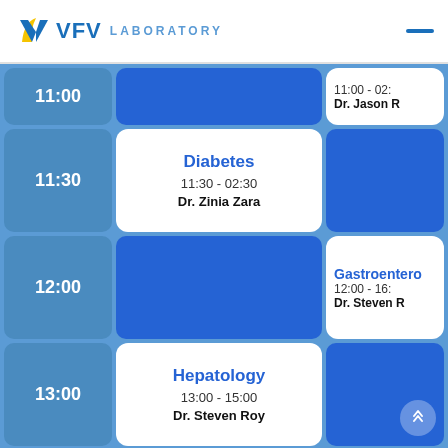VFV LABORATORY
| Time | Column 2 | Column 3 |
| --- | --- | --- |
| 11:00 |  | 11:00 - 02: / Dr. Jason R |
| 11:30 | Diabetes / 11:30 - 02:30 / Dr. Zinia Zara |  |
| 12:00 |  | Gastroentero... / 12:00 - 16: / Dr. Steven R |
| 13:00 | Hepatology / 13:00 - 15:00 / Dr. Steven Roy |  |